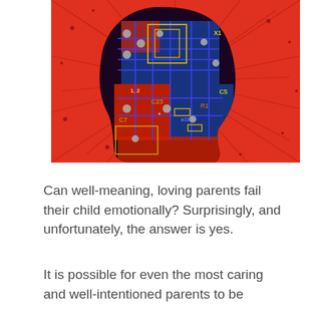[Figure (illustration): Digital illustration of a human head silhouette filled with colorful circuit board patterns (blue, red, orange) against a bright red/orange background with radiating lines and dark speckles suggesting an energized or electrified brain concept.]
Can well-meaning, loving parents fail their child emotionally? Surprisingly, and unfortunately, the answer is yes.
It is possible for even the most caring and well-intentioned parents to be